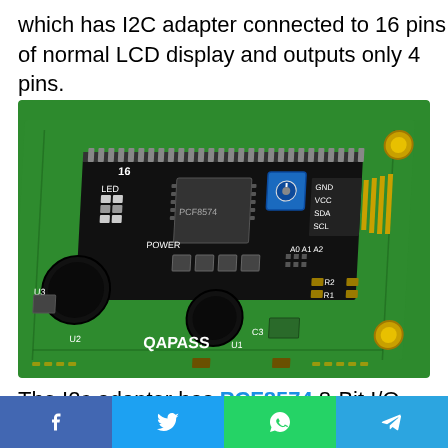which has I2C adapter connected to 16 pins of normal LCD display and outputs only 4 pins.
[Figure (photo): Photo of an I2C LCD adapter module (QAPASS) mounted on a green PCB, showing the PCF8574 chip, blue trim potentiometer, LED, POWER, A0 A1 A2 address pads, GND VCC SDA SCL pins, and components U2 U3 C3 R1 R2.]
The I2c adapter has PCF8574 8-Bit I/O Expander IC which converts the I2C data from the
Facebook Twitter WhatsApp Telegram